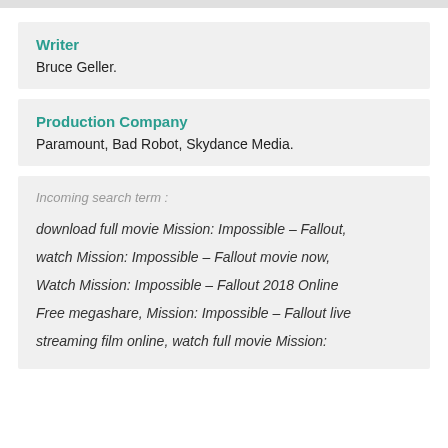Writer
Bruce Geller.
Production Company
Paramount, Bad Robot, Skydance Media.
Incoming search term :
download full movie Mission: Impossible – Fallout, watch Mission: Impossible – Fallout movie now, Watch Mission: Impossible – Fallout 2018 Online Free megashare, Mission: Impossible – Fallout live streaming film online, watch full movie Mission: